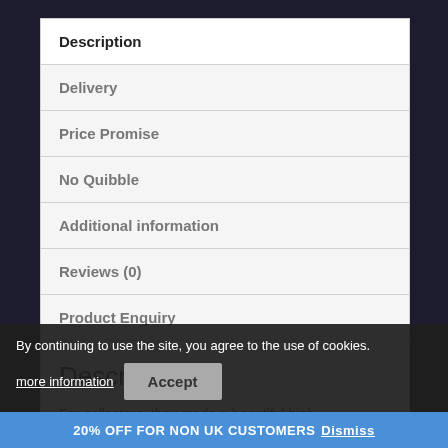Description
Delivery
Price Promise
No Quibble
Additional information
Reviews (0)
Product Enquiry
Description
For collectors, they made a beautiful high- ... celebra... min... ll
By continuing to use the site, you agree to the use of cookies.
more information
Accept
20% OFF FOR NON UK CUSTOMERS Dismiss